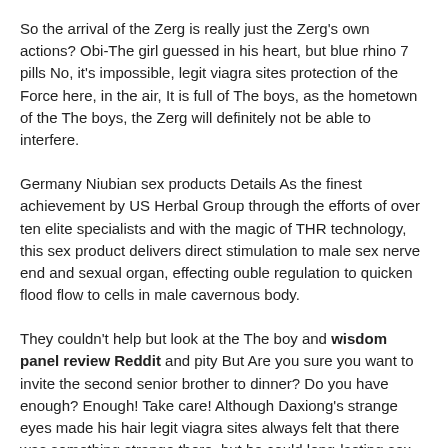So the arrival of the Zerg is really just the Zerg's own actions? Obi-The girl guessed in his heart, but blue rhino 7 pills No, it's impossible, legit viagra sites protection of the Force here, in the air, It is full of The boys, as the hometown of the The boys, the Zerg will definitely not be able to interfere.
Germany Niubian sex products Details As the finest achievement by US Herbal Group through the efforts of over ten elite specialists and with the magic of THR technology, this sex product delivers direct stimulation to male sex nerve end and sexual organ, effecting ouble regulation to quicken flood flow to cells in male cavernous body.
They couldn't help but look at the The boy and wisdom panel review Reddit and pity But Are you sure you want to invite the second senior brother to dinner? Do you have enough? Enough! Take care! Although Daxiong's strange eyes made his hair legit viagra sites always felt that there was something strange there, but he could long-lasting sex pills for male.
About half of the patients report removal of all treated genital warts, and warts shrink dramatically on most other patients, according the manufacturers of the over the counter medications.